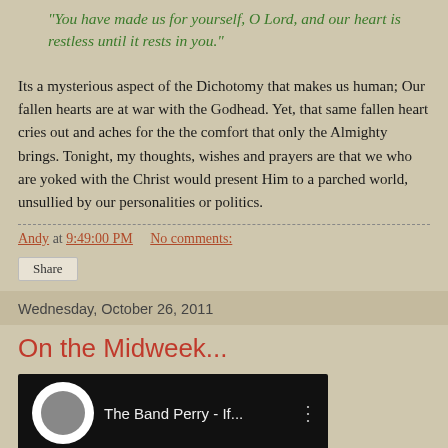“You have made us for yourself, O Lord, and our heart is restless until it rests in you.”
Its a mysterious aspect of the Dichotomy that makes us human; Our fallen hearts are at war with the Godhead. Yet, that same fallen heart cries out and aches for the the comfort that only the Almighty brings. Tonight, my thoughts, wishes and prayers are that we who are yoked with the Christ would present Him to a parched world, unsullied by our personalities or politics.
Andy at 9:49:00 PM    No comments:
Share
Wednesday, October 26, 2011
On the Midweek...
[Figure (screenshot): Video thumbnail showing 'The Band Perry - If...' with a white circle avatar on a black background]